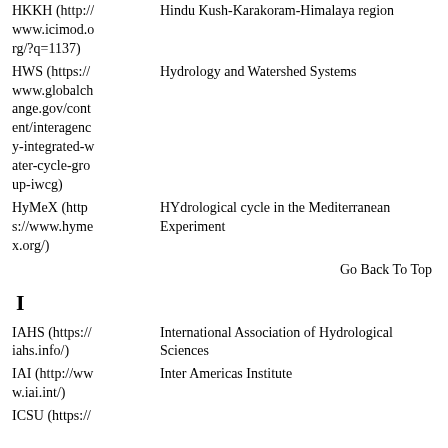| Abbreviation | Full Name |
| --- | --- |
| HKKH (http://www.icimod.org/?q=1137) | Hindu Kush-Karakoram-Himalaya region |
| HWS (https://www.globalchange.gov/content/interagency-integrated-water-cycle-group-iwcg) | Hydrology and Watershed Systems |
| HyMeX (https://www.hymex.org/) | HYdrological cycle in the Mediterranean Experiment |
Go Back To Top
I
| Abbreviation | Full Name |
| --- | --- |
| IAHS (https://iahs.info/) | International Association of Hydrological Sciences |
| IAI (http://www.iai.int/) | Inter Americas Institute |
| ICSU (https:// |  |